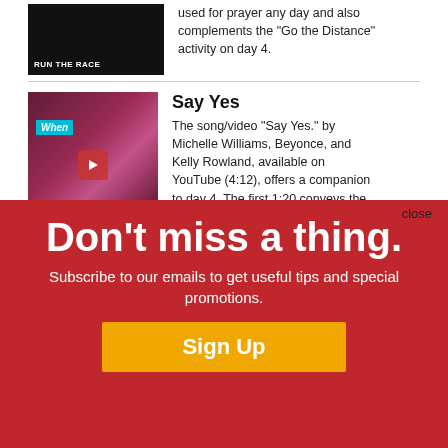[Figure (screenshot): Thumbnail image of 'Run the Race' video with dark background and white text]
used for prayer any day and also complements the "Go the Distance" activity on day 4.
[Figure (screenshot): Thumbnail of 'Say Yes' video with colorful background, 'When' text in blue, and YouTube play button]
Say Yes
The song/video "Say Yes." by Michelle Williams, Beyonce, and Kelly Rowland, available on YouTube (4:12), offers a companion to day 4. The first 1:20 conveys the necessary content to engage the class.
[Figure (screenshot): Thumbnail of another video with dark red background]
Don't miss a thing.
Subscribe to our emails to get useful tips and special promotions.
Sign Up
close